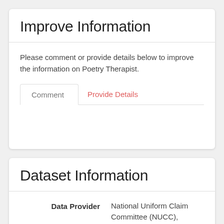Improve Information
Please comment or provide details below to improve the information on Poetry Therapist.
Comment | Provide Details
Dataset Information
| Field | Value |
| --- | --- |
| Data Provider | National Uniform Claim Committee (NUCC), American Medical Association |